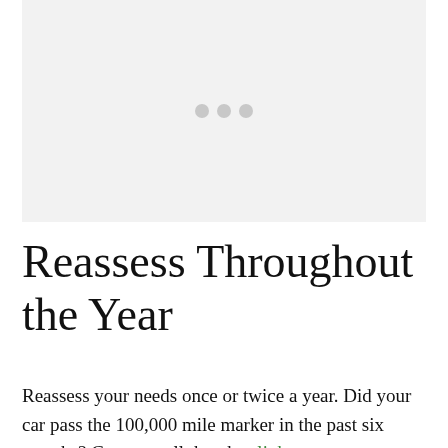[Figure (other): Light gray image placeholder with three gray dots in the center]
Reassess Throughout the Year
Reassess your needs once or twice a year. Did your car pass the 100,000 mile marker in the past six months? Can you tell that the slight